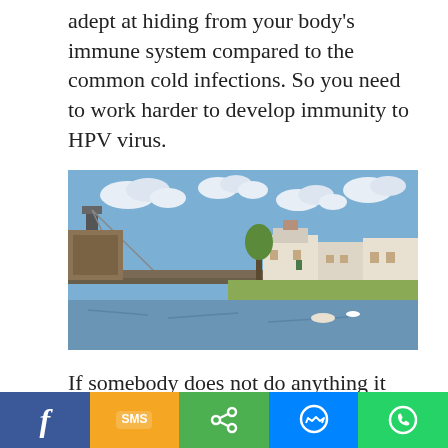adept at hiding from your body's immune system compared to the common cold infections. So you need to work harder to develop immunity to HPV virus.
[Figure (illustration): Impressionist painting of a suspension bridge over a river with white buildings and green trees in the background, blue sky with clouds, boats on the water.]
If somebody does not do anything it can